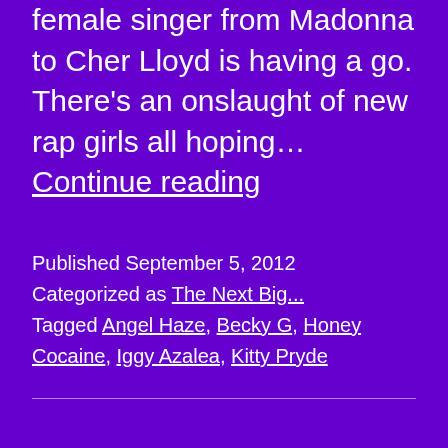female singer from Madonna to Cher Lloyd is having a go. There's an onslaught of new rap girls all hoping… Continue reading
Published September 5, 2012
Categorized as The Next Big...
Tagged Angel Haze, Becky G, Honey Cocaine, Iggy Azalea, Kitty Pryde